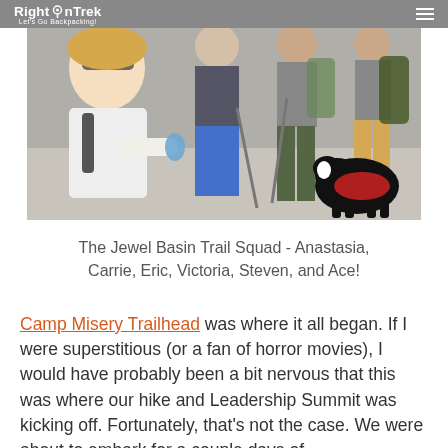RightOnTrek Let's Go Backpacking!
[Figure (photo): Group photo of hikers at a trailhead — a woman with blonde hair and sunglasses taking a selfie on the left, several other people behind her, and a black-and-white border collie dog with a red vest on the right. People carry hiking poles and backpacks.]
The Jewel Basin Trail Squad - Anastasia, Carrie, Eric, Victoria, Steven, and Ace!
Camp Misery Trailhead was where it all began.  If I were superstitious (or a fan of horror movies), I would have probably been a bit nervous that this was where our hike and Leadership Summit was kicking off.  Fortunately, that's not the case.  We were about to embark for a couple days of